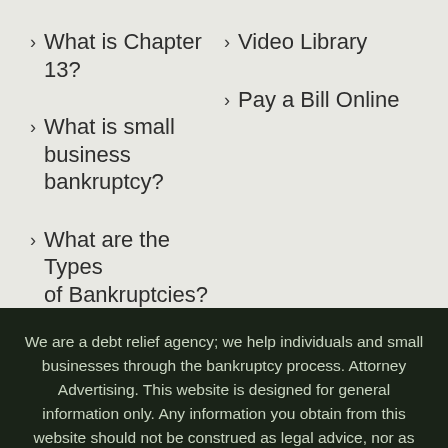What is Chapter 13?
Video Library
What is small business bankruptcy?
Pay a Bill Online
What are the Types of Bankruptcies?
We are a debt relief agency; we help individuals and small businesses through the bankruptcy process. Attorney Advertising. This website is designed for general information only. Any information you obtain from this website should not be construed as legal advice, nor as grounds for forming an attorney-client relationship. You